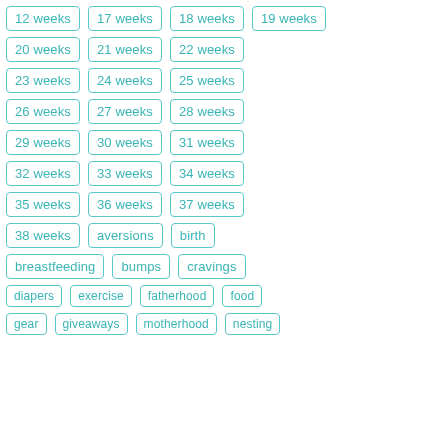12 weeks
17 weeks
18 weeks
19 weeks
20 weeks
21 weeks
22 weeks
23 weeks
24 weeks
25 weeks
26 weeks
27 weeks
28 weeks
29 weeks
30 weeks
31 weeks
32 weeks
33 weeks
34 weeks
35 weeks
36 weeks
37 weeks
38 weeks
aversions
birth
breastfeeding
bumps
cravings
diapers
exercise
fatherhood
food
gear
giveaways
motherhood
nesting